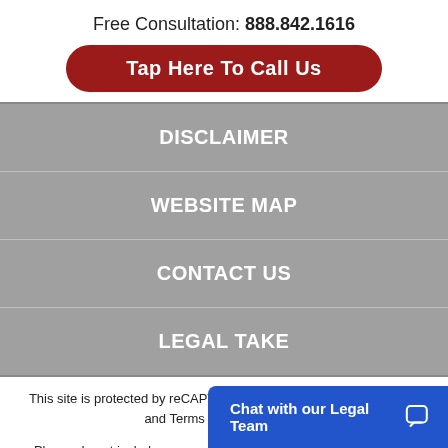Free Consultation: 888.842.1616
Tap Here To Call Us
DISCLAIMER
WEBSITE MAP
CONTACT US
LEGAL TAKE
This site is protected by reCAPTCHA and the Google Privacy Policy and Terms of Service apply.
Please do not include any confidential or sensitive information in a contact form, text message, or voicemail. The contact form sends information by non-encrypt…